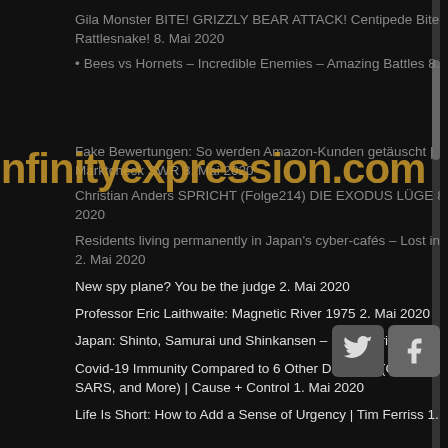Gila Monster BITE! GRIZZLY BEAR ATTACK! Centipede Bite! Rattlesnake! 8. Mai 2020
Bees vs Hornets – Incredible Enemies – Amazing Battles 8. Mai 2020
[Figure (other): infinityexpression.com watermark text overlay in gold/brown color across the page]
Fake Bewertungen: So werden Amazon-Kunden getäuscht | Marktcheck SWR 8. Mai 2020
Christian Anders SPRICHT (Folge214) DIE EXODUS LÜGE 8. Mai 2020
Residents living permanently in Japan's cyber-cafés – Lost in Manboo 2. Mai 2020
New spy plane? You be the judge 2. Mai 2020
Professor Eric Laithwaite: Magnetic River 1975 2. Mai 2020
Japan: Shinto, Samurai und Shinkansen – Reisebericht 2. Mai 2020
Covid-19 Immunity Compared to 6 Other Diseases (Common Cold, HIV, SARS, and More) | Cause + Control 1. Mai 2020
Life Is Short: How to Add a Sense of Urgency | Tim Ferriss 1. Mai 2020